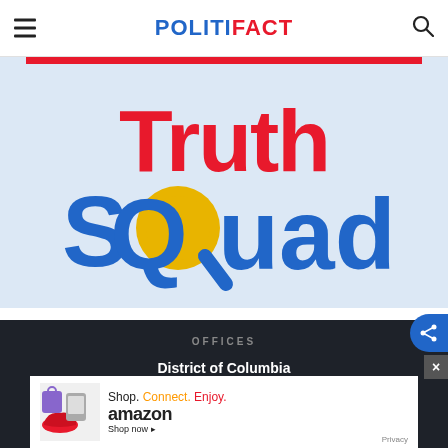POLITIFACT
[Figure (logo): Truth Squad logo on light blue background with red bar at top. 'Truth' in red bold text, 'SQuad' in blue bold text with a magnifying glass replacing the 'O', containing a gold/yellow lens.]
OFFICES
District of Columbia
[Figure (other): Amazon advertisement banner: 'Shop. Connect. Enjoy. amazon Shop now' with images of products on the left side.]